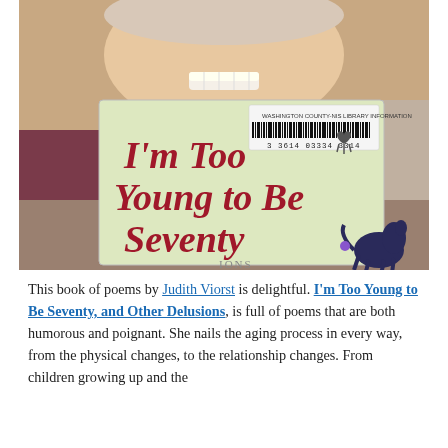[Figure (photo): Person smiling holding up a book titled "I'm Too Young to Be Seventy" with a library barcode sticker visible on the cover]
This book of poems by Judith Viorst is delightful. I'm Too Young to Be Seventy, and Other Delusions, is full of poems that are both humorous and poignant. She nails the aging process in every way, from the physical changes, to the relationship changes. From children growing up and the